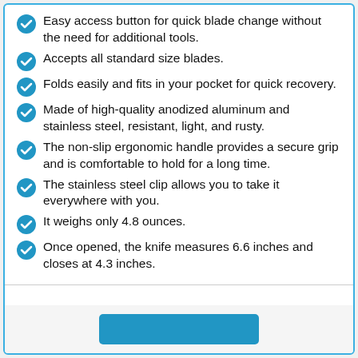Easy access button for quick blade change without the need for additional tools.
Accepts all standard size blades.
Folds easily and fits in your pocket for quick recovery.
Made of high-quality anodized aluminum and stainless steel, resistant, light, and rusty.
The non-slip ergonomic handle provides a secure grip and is comfortable to hold for a long time.
The stainless steel clip allows you to take it everywhere with you.
It weighs only 4.8 ounces.
Once opened, the knife measures 6.6 inches and closes at 4.3 inches.